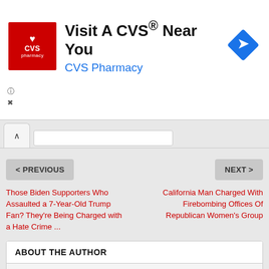[Figure (screenshot): CVS Pharmacy advertisement banner with red logo, 'Visit A CVS® Near You' heading, blue 'CVS Pharmacy' subtext, and a blue navigation diamond icon on the right]
< PREVIOUS
NEXT >
Those Biden Supporters Who Assaulted a 7-Year-Old Trump Fan? They're Being Charged with a Hate Crime ...
California Man Charged With Firebombing Offices Of Republican Women's Group
ABOUT THE AUTHOR
0Censor